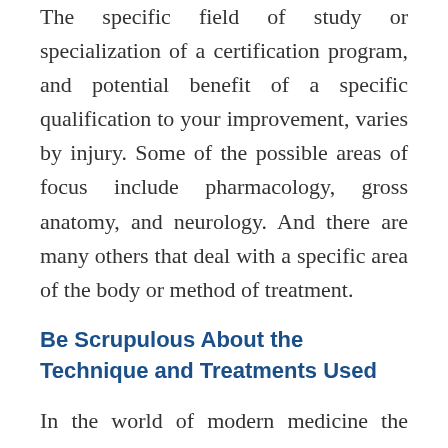The specific field of study or specialization of a certification program, and potential benefit of a specific qualification to your improvement, varies by injury. Some of the possible areas of focus include pharmacology, gross anatomy, and neurology. And there are many others that deal with a specific area of the body or method of treatment.
Be Scrupulous About the Technique and Treatments Used
In the world of modern medicine the same illness or injury can be treated through different techniques and